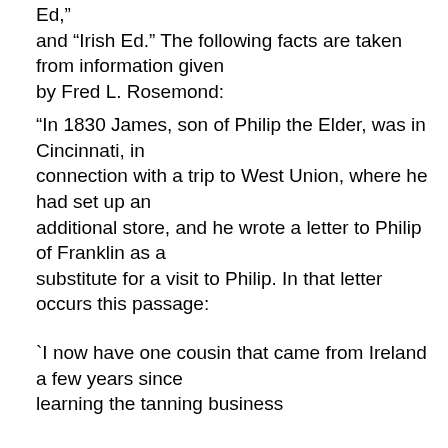Ed,"
and “Irish Ed.” The following facts are taken from information given
by Fred L. Rosemond:
“In 1830 James, son of Philip the Elder, was in Cincinnati, in
connection with a trip to West Union, where he had set up an
additional store, and he wrote a letter to Philip of Franklin as a
substitute for a visit to Philip. In that letter occurs this passage:
`I now have one cousin that came from Ireland a few years since
learning the tanning business